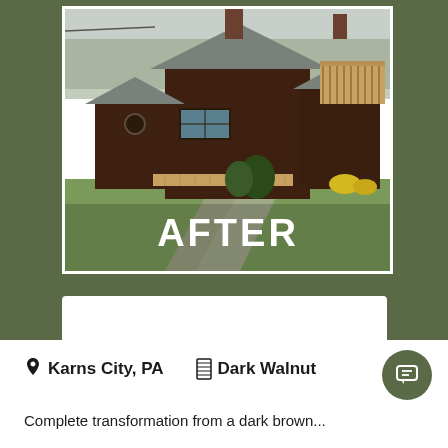[Figure (photo): Exterior photo of a two-story log-style home with dark brown siding, metal roof, wooden deck, and landscaping. The word AFTER is overlaid in large white bold text at the bottom center of the image.]
Karns City, PA    Dark Walnut
Complete transformation of a dark brown...